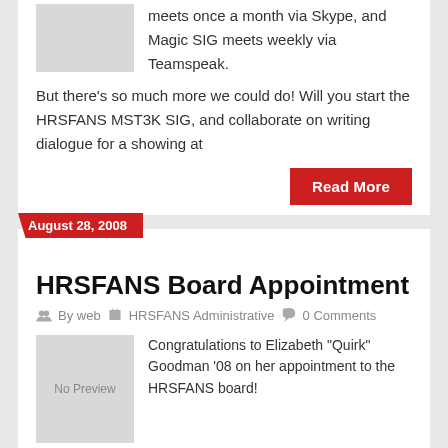meets once a month via Skype, and Magic SIG meets weekly via Teamspeak. But there's so much more we could do! Will you start the HRSFANS MST3K SIG, and collaborate on writing dialogue for a showing at
Read More
August 28, 2008
HRSFANS Board Appointment
By web   HRSFANS Administrative   0 Comments
Congratulations to Elizabeth “Quirk” Goodman ’08 on her appointment to the HRSFANS board!
Read More